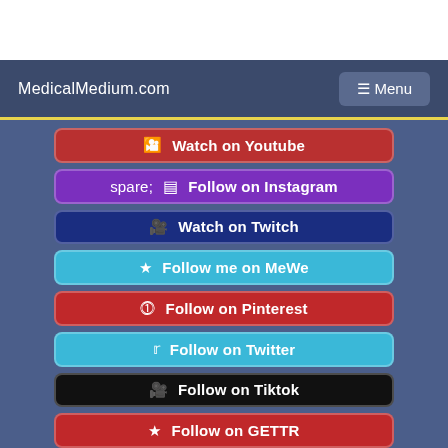MedicalMedium.com
Watch on Youtube
Follow on Instagram
Watch on Twitch
Follow me on MeWe
Follow on Pinterest
Follow on Twitter
Follow on Tiktok
Follow on GETTR